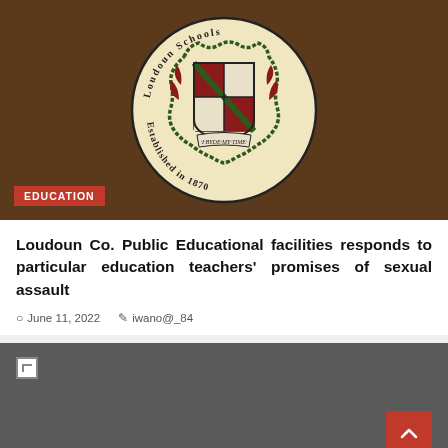[Figure (photo): Loudoun County Public Schools seal/logo mounted on a wooden background. The circular seal shows a coat of arms with red and white quadrants, green decorative border chain, and text reading 'Loudoun County Schools' and 'Established in 1870' with motto 'I Byde My Time'.]
EDUCATION
Loudoun Co. Public Educational facilities responds to particular education teachers' promises of sexual assault
June 11, 2022   iwano@_84
[Figure (photo): A second image that appears broken/not loaded, shown as a dark gray rectangle.]